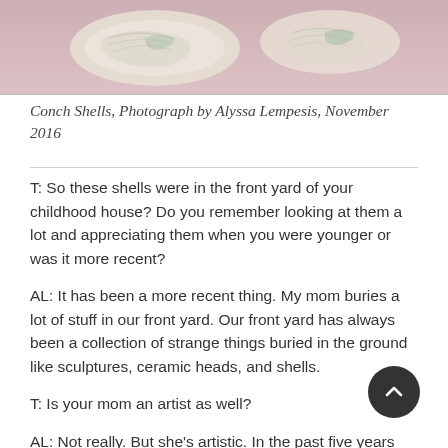[Figure (photo): Photograph of conch shells on a pink surface, partially cropped at top of page]
Conch Shells, Photograph by Alyssa Lempesis, November 2016
T: So these shells were in the front yard of your childhood house? Do you remember looking at them a lot and appreciating them when you were younger or was it more recent?
AL: It has been a more recent thing. My mom buries a lot of stuff in our front yard. Our front yard has always been a collection of strange things buried in the ground like sculptures, ceramic heads, and shells.
T: Is your mom an artist as well?
AL: Not really. But she’s artistic. In the past five years she has started quilting. And it’s been really cool because we suddenly have all of these things to talk about! She understands my art